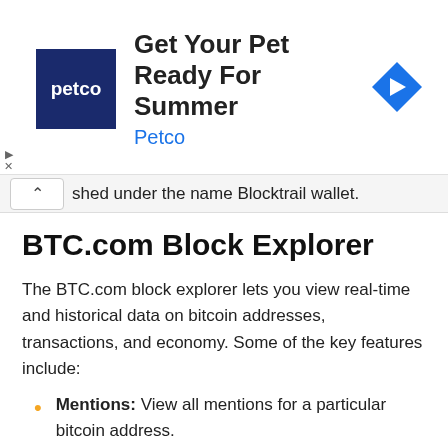[Figure (other): Petco advertisement banner with logo, headline 'Get Your Pet Ready For Summer', subline 'Petco', and a blue navigation arrow icon on the right]
shed under the name Blocktrail wallet.
BTC.com Block Explorer
The BTC.com block explorer lets you view real-time and historical data on bitcoin addresses, transactions, and economy. Some of the key features include:
Mentions: View all mentions for a particular bitcoin address.
Stats: Check all stats for a bitcoin address.